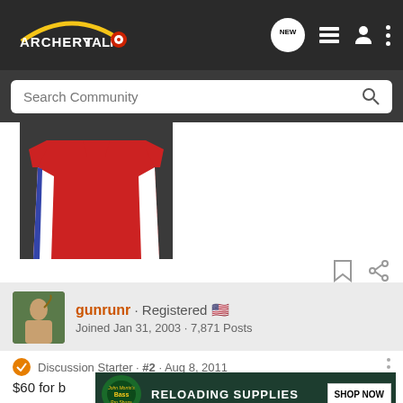ArcheryTalk - NEW icon, list icon, person icon, more icon
Search Community
[Figure (photo): Red and white athletic shirt/jersey displayed on a dark surface]
gunrunr · Registered
Joined Jan 31, 2003 · 7,871 Posts
Discussion Starter · #2 · Aug 8, 2011
$60 for b...
[Figure (screenshot): Bass Pro Shops advertisement banner: RELOADING SUPPLIES - SHOP NOW]